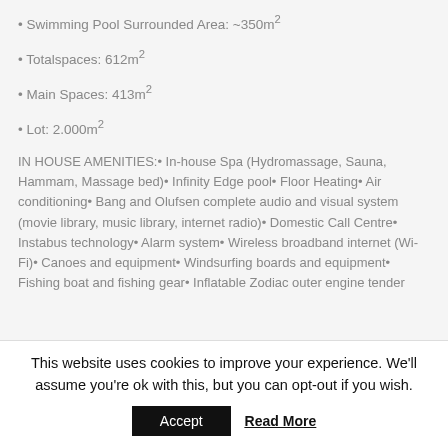• Swimming Pool Surrounded Area: ~350m²
• Totalspaces: 612m²
• Main Spaces: 413m²
• Lot: 2.000m²
IN HOUSE AMENITIES: • In-house Spa (Hydromassage, Sauna, Hammam, Massage bed)• Infinity Edge pool• Floor Heating• Air conditioning• Bang and Olufsen complete audio and visual system (movie library, music library, internet radio)• Domestic Call Centre• Instabus technology• Alarm system• Wireless broadband internet (Wi-Fi)• Canoes and equipment• Windsurfing boards and equipment• Fishing boat and fishing gear• Inflatable Zodiac outer engine tender
This website uses cookies to improve your experience. We'll assume you're ok with this, but you can opt-out if you wish.